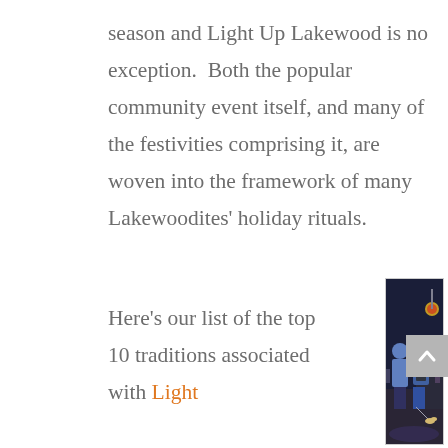season and Light Up Lakewood is no exception.  Both the popular community event itself, and many of the festivities comprising it, are woven into the framework of many Lakewoodites' holiday rituals.
Here's our list of the top 10 traditions associated with Light
[Figure (photo): Two women standing outdoors at night at what appears to be a community event or parade. A Burger King sign is visible in the background. The women are wearing winter clothing; one is in a blue jacket and the other wears a vest over a blue shirt with a scarf. People and dogs are visible in the background.]